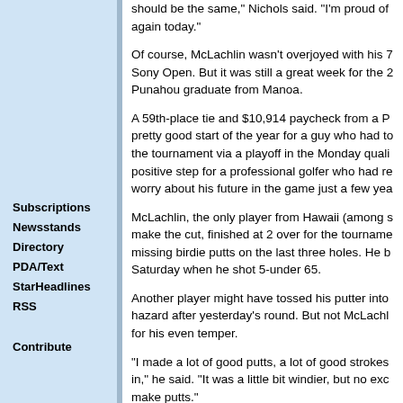Subscriptions
Newsstands
Directory
PDA/Text
StarHeadlines
RSS
Contribute
should be the same," Nichols said. "I'm proud of again today."
Of course, McLachlin wasn't overjoyed with his 7 Sony Open. But it was still a great week for the 2 Punahou graduate from Manoa.
A 59th-place tie and $10,914 paycheck from a P pretty good start of the year for a guy who had to the tournament via a playoff in the Monday quali positive step for a professional golfer who had re worry about his future in the game just a few yea
McLachlin, the only player from Hawaii (among s make the cut, finished at 2 over for the tourname missing birdie putts on the last three holes. He b Saturday when he shot 5-under 65.
Another player might have tossed his putter into hazard after yesterday's round. But not McLachl for his even temper.
"I made a lot of good putts, a lot of good strokes in," he said. "It was a little bit windier, but no exc make putts."
Still, McLachlin said the week is a good jumping Nationwide Tour, for which he earned full-exemp school.
After next week off, he goes to Panama for the w